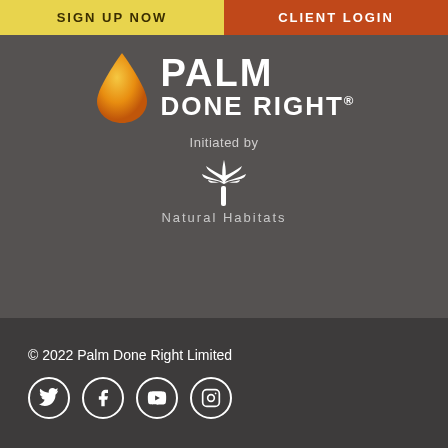[Figure (other): Sign Up Now button (yellow) and Client Login button (orange-red) side by side at top]
[Figure (logo): Palm Done Right logo with orange droplet icon and white bold text PALM DONE RIGHT with registered trademark symbol]
Initiated by
[Figure (logo): Natural Habitats logo with white palm tree icon and text Natural Habitats]
© 2022 Palm Done Right Limited
[Figure (other): Social media icons: Twitter, Facebook, YouTube, Instagram - white circles with icons]